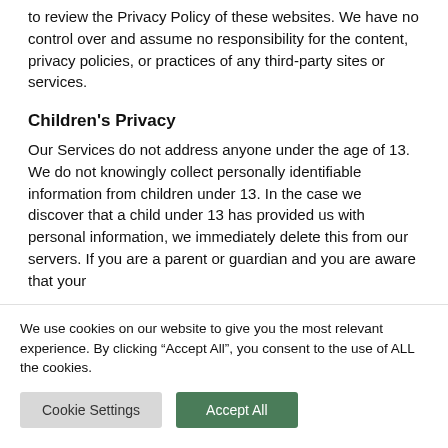to review the Privacy Policy of these websites. We have no control over and assume no responsibility for the content, privacy policies, or practices of any third-party sites or services.
Children's Privacy
Our Services do not address anyone under the age of 13. We do not knowingly collect personally identifiable information from children under 13. In the case we discover that a child under 13 has provided us with personal information, we immediately delete this from our servers. If you are a parent or guardian and you are aware that your
We use cookies on our website to give you the most relevant experience. By clicking “Accept All”, you consent to the use of ALL the cookies.
Cookie Settings
Accept All